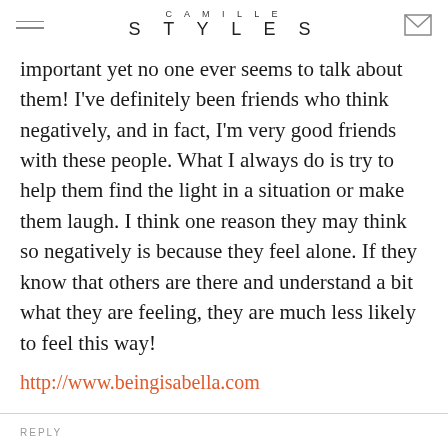CAMILLE STYLES
important yet no one ever seems to talk about them! I've definitely been friends who think negatively, and in fact, I'm very good friends with these people. What I always do is try to help them find the light in a situation or make them laugh. I think one reason they may think so negatively is because they feel alone. If they know that others are there and understand a bit what they are feeling, they are much less likely to feel this way!
http://www.beingisabella.com
REPLY